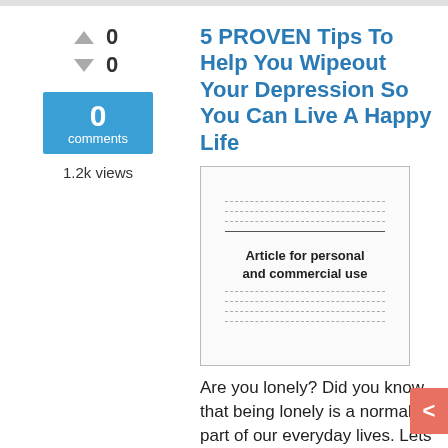5 PROVEN Tips To Help You Wipeout Your Depression So You Can Live A Happy Life
[Figure (illustration): Thumbnail image of a document/article page with dashed lines representing text and a label 'Article for personal and commercial use']
Are you lonely? Did you know that being lonely is a normal part of our everyday lives. Lets face it, we've all been there. We get ... go give those 5 Tips a try and see how they pan out for you.